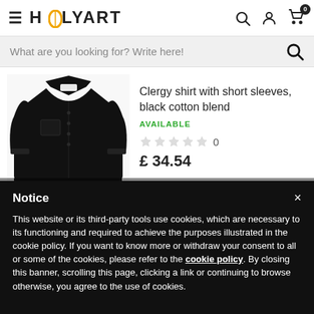[Figure (screenshot): HolyArt website header with hamburger menu, logo, search icon, user icon, and cart icon with badge 0]
What are you looking for? Write here!
[Figure (photo): Black clergy shirt with short sleeves displayed on a mannequin]
Clergy shirt with short sleeves, black cotton blend
AVAILABLE
0
£ 34.54
Notice
This website or its third-party tools use cookies, which are necessary to its functioning and required to achieve the purposes illustrated in the cookie policy. If you want to know more or withdraw your consent to all or some of the cookies, please refer to the cookie policy. By closing this banner, scrolling this page, clicking a link or continuing to browse otherwise, you agree to the use of cookies.